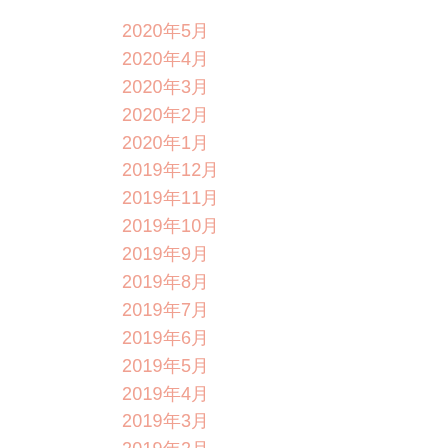2020年5月
2020年4月
2020年3月
2020年2月
2020年1月
2019年12月
2019年11月
2019年10月
2019年9月
2019年8月
2019年7月
2019年6月
2019年5月
2019年4月
2019年3月
2019年2月
2019年1月
2018年12月